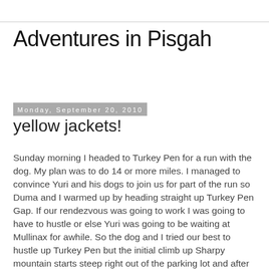Adventures in Pisgah
Monday, September 20, 2010
yellow jackets!
Sunday morning I headed to Turkey Pen for a run with the dog. My plan was to do 14 or more miles. I managed to convince Yuri and his dogs to join us for part of the run so Duma and I warmed up by heading straight up Turkey Pen Gap. If our rendezvous was going to work I was going to have to hustle or else Yuri was going to be waiting at Mullinax for awhile. So the dog and I tried our best to hustle up Turkey Pen but the initial climb up Sharpy mountain starts steep right out of the parking lot and after a short respite across Sandy Gap becomes nearly impossible to run. I 'ran' the entire climb but have no doubt that it would be just as fast to take bigger strides and walk - that will likely be my strategy during the Shut In. The downhill from Sharpy is steeper than the climb up which presents its own set of